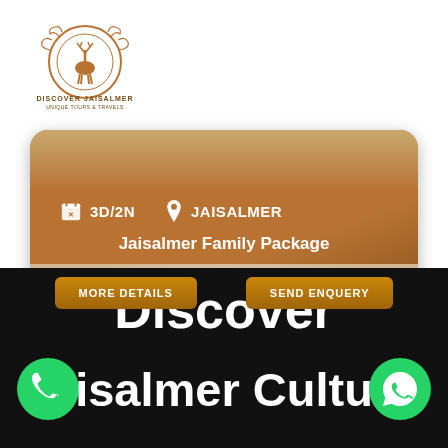[Figure (logo): Discover Jaisalmer logo - circular ornate emblem with deer/antelope motif and brand name text below]
[Figure (screenshot): Brown travel package card showing 3D/2N duration, JAISALMER location, Jaisalmer Family Package title, and two gold buttons: MORE DETAILS and SEND ENQUERY]
Discover
Jaisalmer Culture
[Figure (infographic): Phone call green circle icon on left, WhatsApp green circle icon on right, flanking the text 'Jaisalmer Cultur']